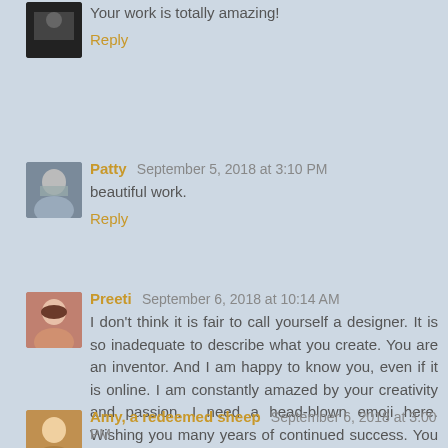Your work is totally amazing!
Reply
Patty  September 5, 2018 at 3:10 PM
beautiful work.
Reply
Preeti  September 6, 2018 at 10:14 AM
I don't think it is fair to call yourself a designer. It is so inadequate to describe what you create. You are an inventor. And I am happy to know you, even if it is online. I am constantly amazed by your creativity and passion. I need a head-blown emoji here. Wishing you many years of continued success. You are an inspiration, Yanicka.
Reply
Amy, a redeemed sheep  September 6, 2018 at 3:00 PM